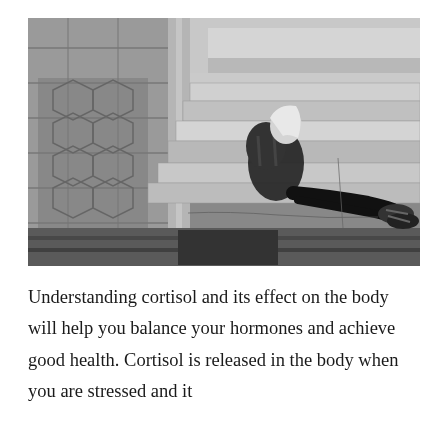[Figure (photo): Black and white photograph of a person with a backpack sitting hunched over on stone steps near water, with their face hidden and legs extended forward wearing sandals.]
Understanding cortisol and its effect on the body will help you balance your hormones and achieve good health. Cortisol is released in the body when you are stressed and it